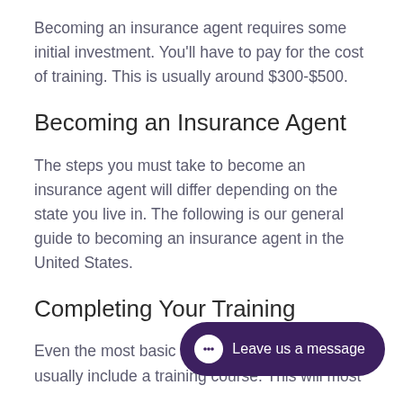Becoming an insurance agent requires some initial investment. You'll have to pay for the cost of training. This is usually around $300-$500.
Becoming an Insurance Agent
The steps you must take to become an insurance agent will differ depending on the state you live in. The following is our general guide to becoming an insurance agent in the United States.
Completing Your Training
Even the most basic in… usually include a training course. This will most